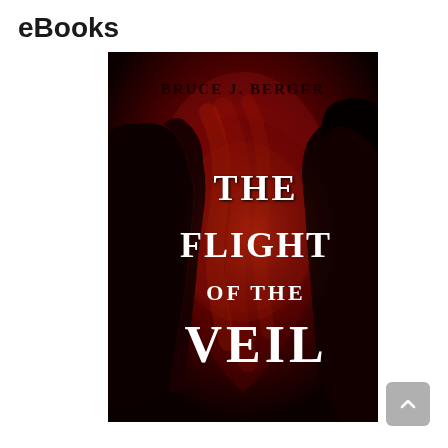eBooks
[Figure (illustration): Book cover for 'The Flight of the Veil' by Bruce J. Berger. Dark atmospheric cover with deep red and black tones, showing two silhouetted figures facing each other against a swirling red smoky background. Author name 'BRUCE J. BERGER' appears at the top in dark serif text. The title 'THE FLIGHT OF THE VEIL' appears in large white serif letters in the center.]